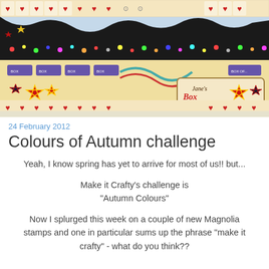[Figure (illustration): Decorative blog banner for 'Jane's Box of Colours' featuring a scrapbook-style collage with hearts, stars, ribbons, polka dot patterns in red, black, yellow and white. A 3D cartoon figure of a painter holding a palette and brush wearing a blue beret is shown inside a red dotted frame. Text reads 'Jane's Box of Colours' on a hanging sign.]
24 February 2012
Colours of Autumn challenge
Yeah, I know spring has yet to arrive for most of us!! but...
Make it Crafty's challenge is "Autumn Colours"
Now I splurged this week on a couple of new Magnolia stamps and one in particular sums up the phrase "make it crafty" - what do you think??